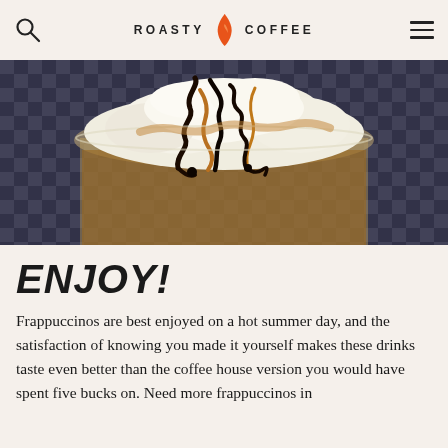ROASTY COFFEE
[Figure (photo): Close-up top-down view of a frappuccino in a clear glass with whipped cream and chocolate sauce drizzle on top, with caramel coloring visible, on a blue checkered background.]
ENJOY!
Frappuccinos are best enjoyed on a hot summer day, and the satisfaction of knowing you made it yourself makes these drinks taste even better than the coffee house version you would have spent five bucks on. Need more frappuccinos in